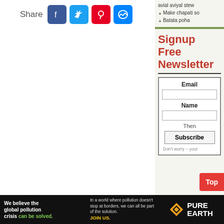Share
[Figure (screenshot): Social share buttons: Facebook, Twitter, Pinterest, Messenger]
avial aviyal stew
Make chapati so
Batata poha
Signup Free Newsletter
Email
Name
Then
Subscribe
Don't worry -- your
Top
We believe the global pollution crisis can be solved. In a world where pollution doesn't stop at borders, we can all be part of the solution. JOIN US. PURE EARTH